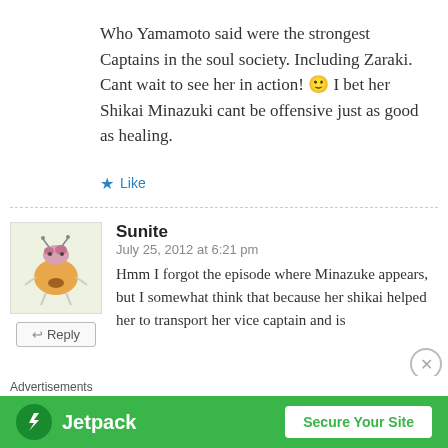Who Yamamoto said were the strongest Captains in the soul society. Including Zaraki. Cant wait to see her in action! 🙂 I bet her Shikai Minazuki cant be offensive just as good as healing.
★ Like
Sunite
July 25, 2012 at 6:21 pm
Hmm I forgot the episode where Minazuke appears, but I somewhat think that because her shikai helped her to transport her vice captain and is
[Figure (screenshot): Jetpack advertisement banner with green background, Jetpack logo on left and 'Secure Your Site' button on right]
Advertisements